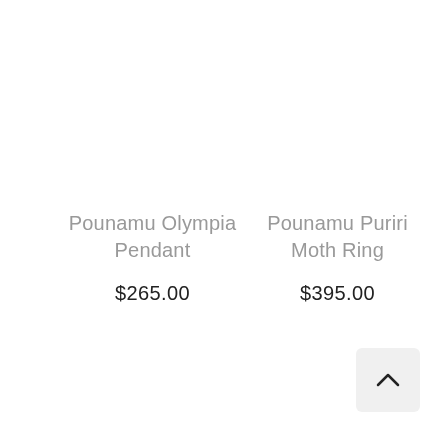Pounamu Olympia Pendant
$265.00
Pounamu Puriri Moth Ring
$395.00